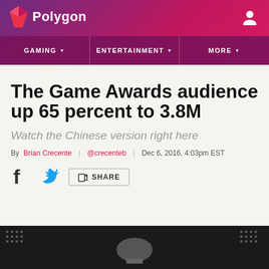[Figure (logo): Polygon logo with diamond/gem icon and wordmark in white on purple-to-red gradient header]
GAMING  |  ENTERTAINMENT  |  MORE
The Game Awards audience up 65 percent to 3.8M
Watch the Chinese version right here
By Brian Crecente | @crecenteb | Dec 6, 2016, 4:03pm EST
[Figure (screenshot): Dark bottom image showing The Game Awards trophy/controller setup on dark background]